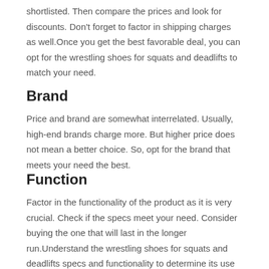shortlisted. Then compare the prices and look for discounts. Don't forget to factor in shipping charges as well.Once you get the best favorable deal, you can opt for the wrestling shoes for squats and deadlifts to match your need.
Brand
Price and brand are somewhat interrelated. Usually, high-end brands charge more. But higher price does not mean a better choice. So, opt for the brand that meets your need the best.
Function
Factor in the functionality of the product as it is very crucial. Check if the specs meet your need. Consider buying the one that will last in the longer run.Understand the wrestling shoes for squats and deadlifts specs and functionality to determine its use for you.